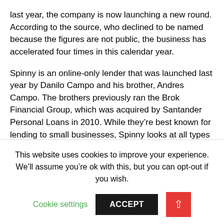last year, the company is now launching a new round. According to the source, who declined to be named because the figures are not public, the business has accelerated four times in this calendar year.
Spinny is an online-only lender that was launched last year by Danilo Campo and his brother, Andres Campo. The brothers previously ran the Brok Financial Group, which was acquired by Santander Personal Loans in 2010. While they're best known for lending to small businesses, Spinny looks at all types of borrowers (including individuals).
Every month, hundreds of thousands of used
This website uses cookies to improve your experience. We'll assume you're ok with this, but you can opt-out if you wish.